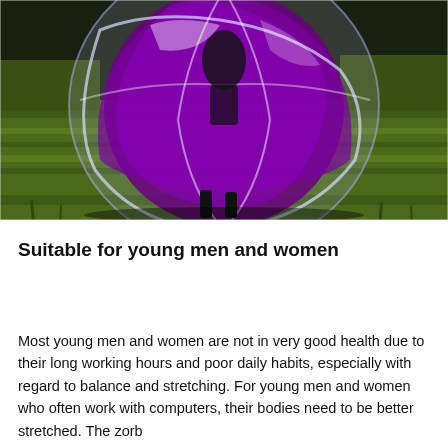[Figure (photo): A large transparent and purple zorb ball on a green grass field. A person appears to be inside or behind the ball. The scene is outdoors on what appears to be a sports field at dusk or evening.]
Suitable for young men and women
Most young men and women are not in very good health due to their long working hours and poor daily habits, especially with regard to balance and stretching. For young men and women who often work with computers, their bodies need to be better stretched. The zorb